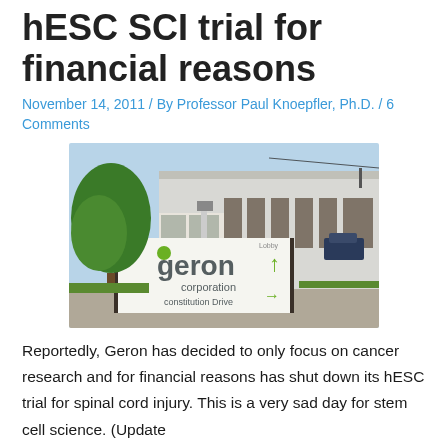hESC SCI trial for financial reasons
November 14, 2011 / By Professor Paul Knoepfler, Ph.D. / 6 Comments
[Figure (photo): Photograph of Geron Corporation building exterior with a prominent sign reading 'geron corporation' with green logo, a tree to the left, and a large industrial/office building in the background. Sign shows 'Constitution Drive' and an arrow directing to 'Lobby'. Taken on a sunny day.]
Reportedly, Geron has decided to only focus on cancer research and for financial reasons has shut down its hESC trial for spinal cord injury. This is a very sad day for stem cell science. (Update